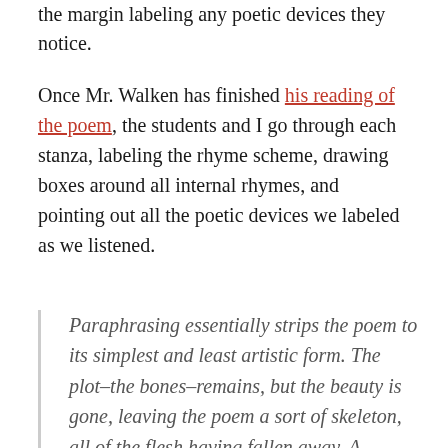the margin labeling any poetic devices they notice.
Once Mr. Walken has finished his reading of the poem, the students and I go through each stanza, labeling the rhyme scheme, drawing boxes around all internal rhymes, and pointing out all the poetic devices we labeled as we listened.
Paraphrasing essentially strips the poem to its simplest and least artistic form. The plot–the bones–remains, but the beauty is gone, leaving the poem a sort of skeleton, all of the flesh having fallen away. A paraphrase does perhaps make the basic information more digestible, but the language is stilted, and